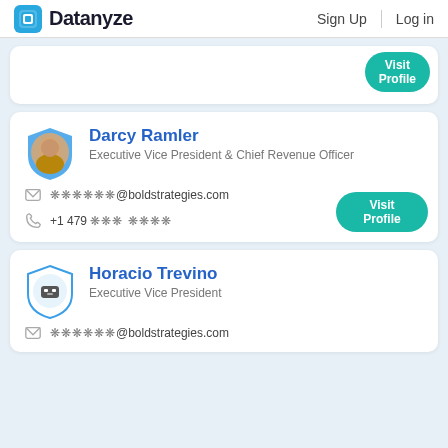Datanyze | Sign Up | Log in
Darcy Ramler - Executive Vice President & Chief Revenue Officer - ******@boldstrategies.com - +1 479 *** ****
Horacio Trevino - Executive Vice President - ******@boldstrategies.com